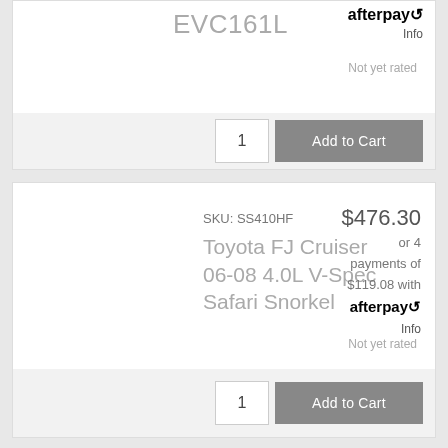EVC161L
afterpay Info
Not yet rated
1  Add to Cart
SKU: SS410HF
$476.30
Toyota FJ Cruiser 06-08 4.0L V-Spec Safari Snorkel
or 4 payments of $119.08 with afterpay Info
Not yet rated
1  Add to Cart